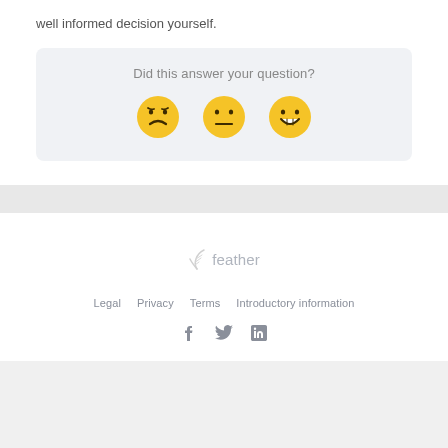well informed decision yourself.
[Figure (other): Feedback widget with question 'Did this answer your question?' and three emoji faces: frowning, neutral, and grinning]
[Figure (logo): Feather logo with feather icon and text 'feather']
Legal   Privacy   Terms   Introductory information
[Figure (other): Social media icons: Facebook, Twitter, LinkedIn]